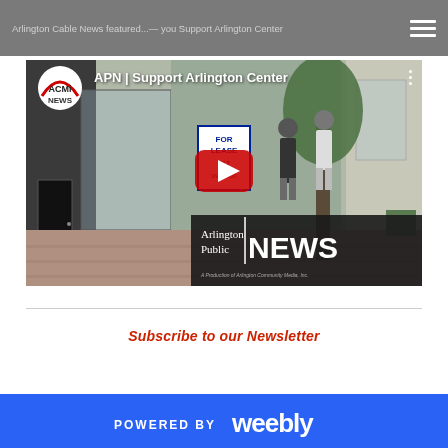Arlington Cable News featured...— you Support Arlington Center
[Figure (screenshot): YouTube video thumbnail showing 'APN | Support Arlington Center' with ACMI News logo, a street scene with a For Lease sign and two women walking, Arlington Public NEWS watermark at bottom right, and a red YouTube play button in the center.]
Subscribe to our Newsletter
[Figure (logo): Powered by Weebly footer logo on blue background]